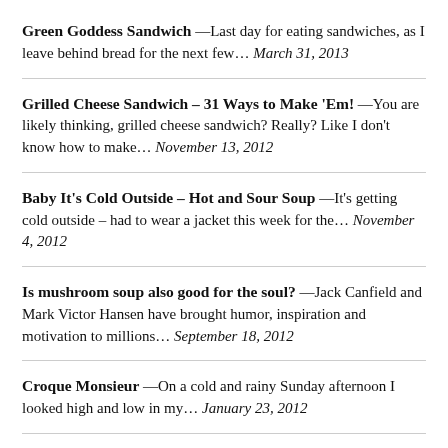Green Goddess Sandwich — Last day for eating sandwiches, as I leave behind bread for the next few... March 31, 2013
Grilled Cheese Sandwich – 31 Ways to Make 'Em! — You are likely thinking, grilled cheese sandwich? Really?  Like I don't know how to make... November 13, 2012
Baby It's Cold Outside – Hot and Sour Soup — It's getting cold outside – had to wear a jacket this week for the... November 4, 2012
Is mushroom soup also good for the soul? — Jack Canfield and Mark Victor Hansen have brought humor, inspiration and motivation to millions... September 18, 2012
Croque Monsieur — On a cold and rainy Sunday afternoon I looked high and low in my... January 23, 2012
FOOD / TRAVEL